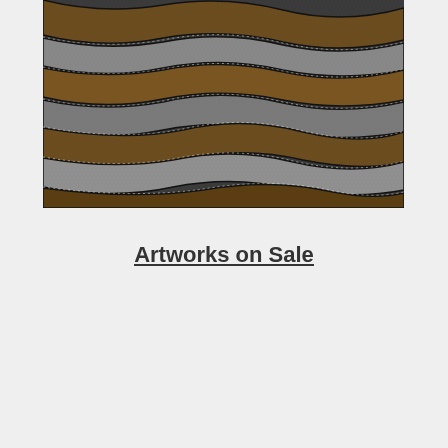[Figure (illustration): Abstract wave pattern artwork with interweaving bands of dark grey/silver and warm brown/bronze colors, textured with dotted/stippled detail and dark outlines]
Artworks on Sale